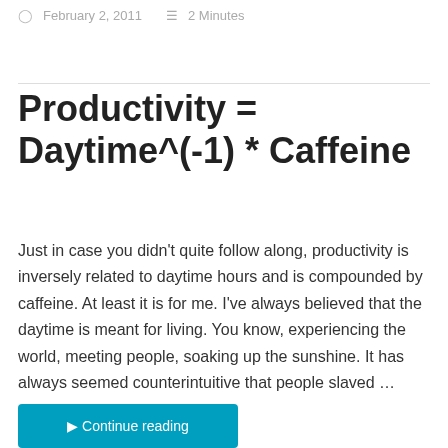February 2, 2011  2 Minutes
Productivity = Daytime^(-1) * Caffeine
Just in case you didn't quite follow along, productivity is inversely related to daytime hours and is compounded by caffeine. At least it is for me. I've always believed that the daytime is meant for living. You know, experiencing the world, meeting people, soaking up the sunshine. It has always seemed counterintuitive that people slaved …